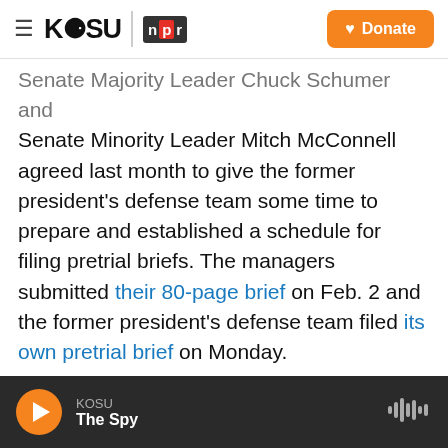KOSU | NPR — Donate
Senate Majority Leader Chuck Schumer and Senate Minority Leader Mitch McConnell agreed last month to give the former president's defense team some time to prepare and established a schedule for filing pretrial briefs. The managers submitted their 80-page brief on Feb. 2 and the former president's defense team filed its own pretrial brief on Monday.
Schumer and McConnell agreed to a resolution that sets up the structure of the trial. Schumer said it will ensure a "fair and honest" process.
In a statement sent by Trump's office Monday
KOSU — The Spy